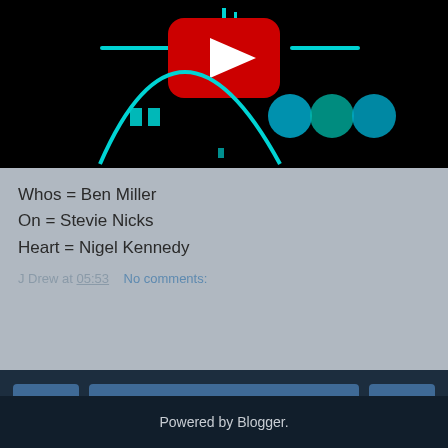[Figure (screenshot): YouTube video thumbnail with dark background, showing a music visualizer with cyan arc, cyan lines, circular buttons, and YouTube play button icon at top center.]
Whos = Ben Miller
On = Stevie Nicks
Heart = Nigel Kennedy
J Drew at 05:53    No comments:
[Figure (screenshot): Navigation bar with dark background, three buttons: left arrow (<), Home, right arrow (>), and View web version link below.]
Powered by Blogger.